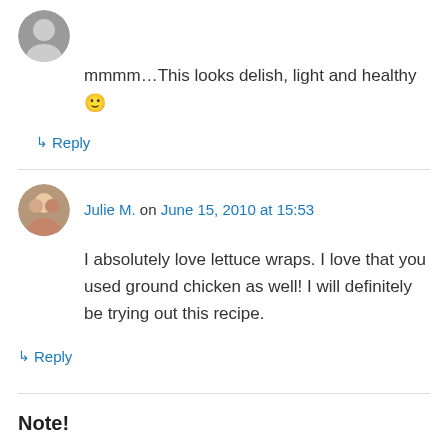mmmm…This looks delish, light and healthy 🙂
↳ Reply
Julie M. on June 15, 2010 at 15:53
I absolutely love lettuce wraps. I love that you used ground chicken as well! I will definitely be trying out this recipe.
↳ Reply
Note!
All pictures and written material belongs to My Danish Kitchen. Please be respectful of my work and do not copy my photos or text without